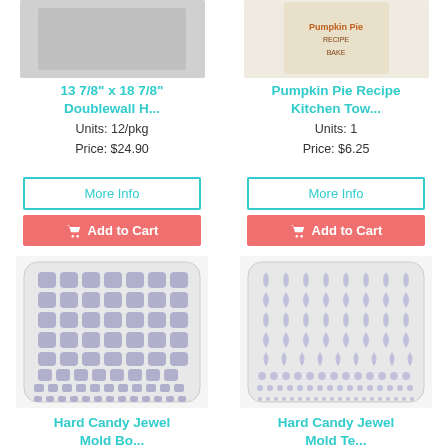[Figure (photo): Product image of 13 7/8 x 18 7/8 Doublewall item (partially visible, top cropped)]
[Figure (photo): Product image of Pumpkin Pie Recipe Kitchen Towel (partially visible, top cropped)]
13 7/8" x 18 7/8" Doublewall H...
Pumpkin Pie Recipe Kitchen Tow...
Units: 12/pkg
Price: $24.90
Units: 1
Price: $6.25
More Info
More Info
Add to Cart
Add to Cart
[Figure (photo): Hard Candy Jewel Mold - square/rounded square shapes in rows, lavender/grey tray]
[Figure (photo): Hard Candy Jewel Mold - teardrop shapes in rows, lavender/grey tray]
Hard Candy Jewel Mold Bo...
Hard Candy Jewel Mold Te...